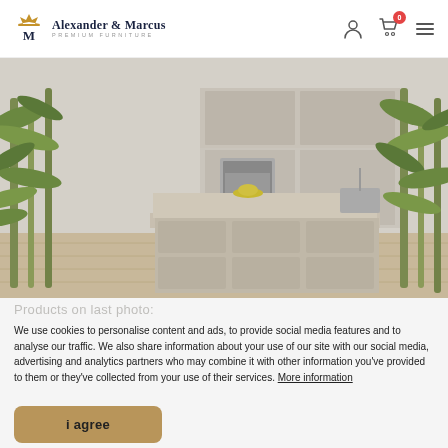Alexander & Marcus PREMIUM FURNITURE
[Figure (photo): Modern premium kitchen interior with bamboo plants, light wood flooring, cream-colored kitchen island with drawers, built-in oven and cabinets in the background, large windows.]
Products on last photo:
We use cookies to personalise content and ads, to provide social media features and to analyse our traffic. We also share information about your use of our site with our social media, advertising and analytics partners who may combine it with other information you've provided to them or they've collected from your use of their services. More information
i agree